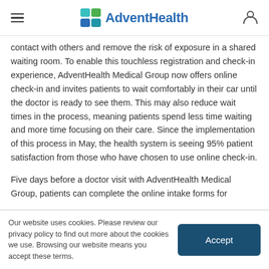AdventHealth
contact with others and remove the risk of exposure in a shared waiting room. To enable this touchless registration and check-in experience, AdventHealth Medical Group now offers online check-in and invites patients to wait comfortably in their car until the doctor is ready to see them. This may also reduce wait times in the process, meaning patients spend less time waiting and more time focusing on their care. Since the implementation of this process in May, the health system is seeing 95% patient satisfaction from those who have chosen to use online check-in.
Five days before a doctor visit with AdventHealth Medical Group, patients can complete the online intake forms for
Our website uses cookies. Please review our privacy policy to find out more about the cookies we use. Browsing our website means you accept these terms.